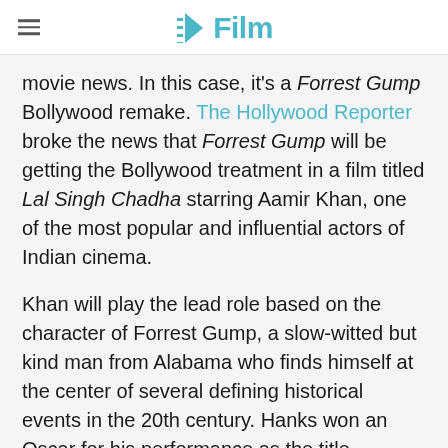≡  /Film
movie news. In this case, it's a Forrest Gump Bollywood remake. The Hollywood Reporter broke the news that Forrest Gump will be getting the Bollywood treatment in a film titled Lal Singh Chadha starring Aamir Khan, one of the most popular and influential actors of Indian cinema.
Khan will play the lead role based on the character of Forrest Gump, a slow-witted but kind man from Alabama who finds himself at the center of several defining historical events in the 20th century. Hanks won an Oscar for his performance as the title character in the 1994 film directed by Robert Zemeckis, which was based on the 1986 novel of the same name by Winston Groom. The